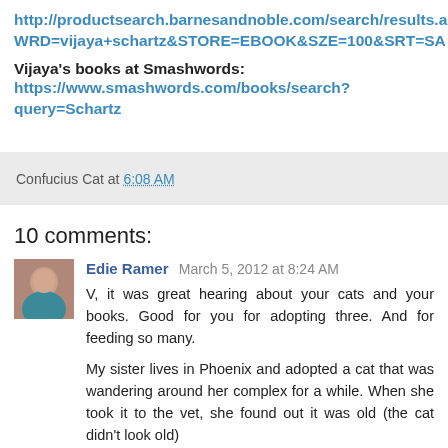http://productsearch.barnesandnoble.com/search/results.aspx?WRD=vijaya+schartz&STORE=EBOOK&SZE=100&SRT=SA
Vijaya's books at Smashwords: https://www.smashwords.com/books/search?query=Schartz
Confucius Cat at 6:08 AM
10 comments:
Edie Ramer  March 5, 2012 at 8:24 AM
V, it was great hearing about your cats and your books. Good for you for adopting three. And for feeding so many.

My sister lives in Phoenix and adopted a cat that was wandering around her complex for a while. When she took it to the vet, she found out it was old (the cat didn't look old)